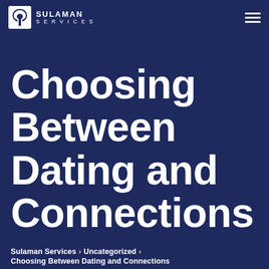SULAMAN SERVICES
Choosing Between Dating and Connections
Sulaman Services > Uncategorized > Choosing Between Dating and Connections